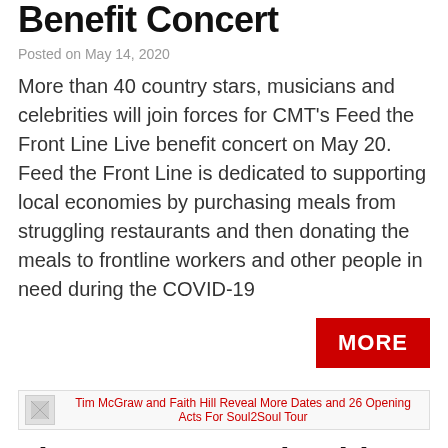Benefit Concert
Posted on May 14, 2020
More than 40 country stars, musicians and celebrities will join forces for CMT's Feed the Front Line Live benefit concert on May 20. Feed the Front Line is dedicated to supporting local economies by purchasing meals from struggling restaurants and then donating the meals to frontline workers and other people in need during the COVID-19
[Figure (other): Red MORE button]
[Figure (other): Thumbnail image with link text: Tim McGraw and Faith Hill Reveal More Dates and 26 Opening Acts For Soul2Soul Tour]
Tim McGraw and Faith Hill Reveal More Dates and 26 Opening Acts For Soul2Soul Tour